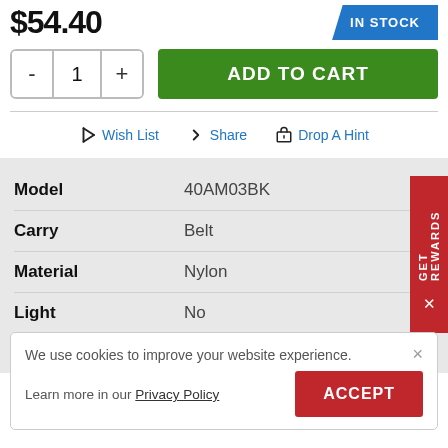$54.40
IN STOCK
- 1 +
ADD TO CART
Wish List
Share
Drop A Hint
| Model | 40AM03BK |
| Carry | Belt |
| Material | Nylon |
| Light | No |
| SKU | 56905 |
We use cookies to improve your website experience.
Learn more in our Privacy Policy
ACCEPT